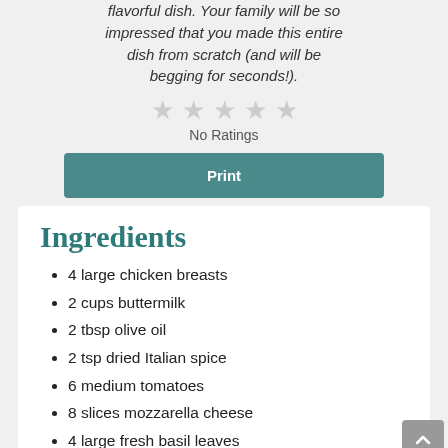flavorful dish. Your family will be so impressed that you made this entire dish from scratch (and will be begging for seconds!).
[Figure (other): Five empty star rating icons indicating no ratings]
No Ratings
Print
Ingredients
4 large chicken breasts
2 cups buttermilk
2 tbsp olive oil
2 tsp dried Italian spice
6 medium tomatoes
8 slices mozzarella cheese
4 large fresh basil leaves